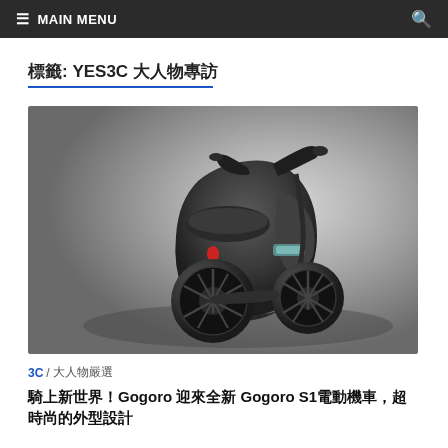≡ MAIN MENU  🔍
標籤: YES3C 大人物專訪
[Figure (photo): A dark-colored electric scooter (Gogoro) rendered in a studio-like gray gradient background, showing the vehicle from a three-quarter rear angle. The scooter has a sleek modern design with a small LED display panel on its body and spoke wheels.]
3C / 大人物嚴選
騎上新世界！Gogoro 迎來全新 Gogoro S1電動機車，超時尚的外型設計